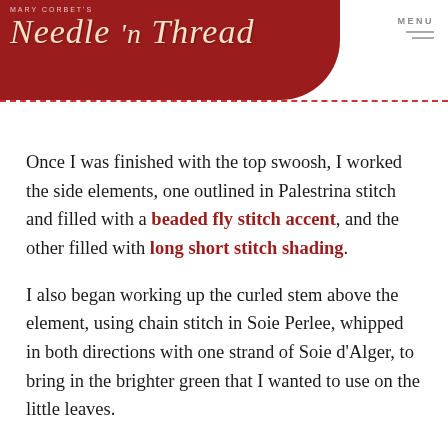Mary Corbet's Needle 'n Thread
Once I was finished with the top swoosh, I worked the side elements, one outlined in Palestrina stitch and filled with a beaded fly stitch accent, and the other filled with long short stitch shading.
I also began working up the curled stem above the element, using chain stitch in Soie Perlee, whipped in both directions with one strand of Soie d'Alger, to bring in the brighter green that I wanted to use on the little leaves.
Then, I left that section for a while, so that I could think about the